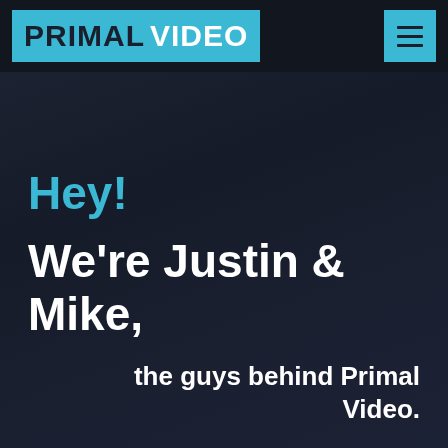[Figure (logo): Primal Video logo — cyan/light-blue background rectangle with bold black text 'PRIMAL' and bold white text 'VIDEO']
[Figure (other): Hamburger menu icon — cyan square button with three horizontal dark lines]
Hey!
We're Justin & Mike,
the guys behind Primal Video.